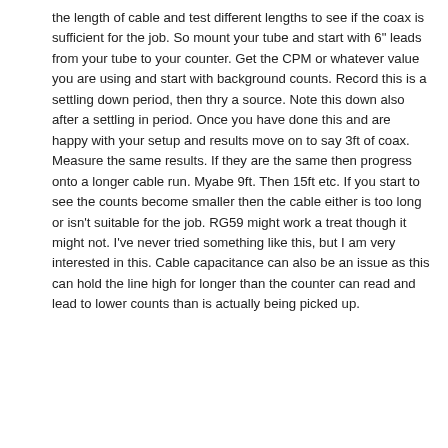the length of cable and test different lengths to see if the coax is sufficient for the job. So mount your tube and start with 6" leads from your tube to your counter. Get the CPM or whatever value you are using and start with background counts. Record this is a settling down period, then thry a source. Note this down also after a settling in period. Once you have done this and are happy with your setup and results move on to say 3ft of coax. Measure the same results. If they are the same then progress onto a longer cable run. Myabe 9ft. Then 15ft etc. If you start to see the counts become smaller then the cable either is too long or isn't suitable for the job. RG59 might work a treat though it might not. I've never tried something like this, but I am very interested in this. Cable capacitance can also be an issue as this can hold the line high for longer than the counter can read and lead to lower counts than is actually being picked up.